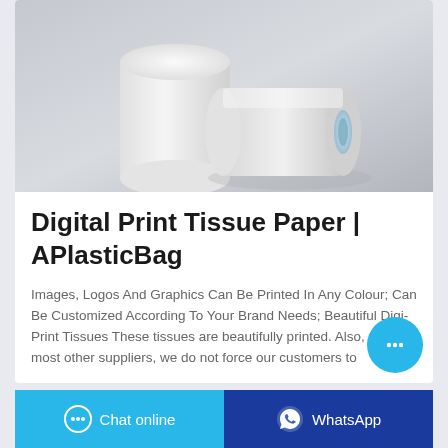[Figure (photo): Two white toilet/tissue paper rolls on a gray gradient background]
Digital Print Tissue Paper | APlasticBag
Images, Logos And Graphics Can Be Printed In Any Colour; Can Be Customized According To Your Brand Needs; Beautiful Digi-Print Tissues These tissues are beautifully printed. Also, unlike most other suppliers, we do not force our customers to